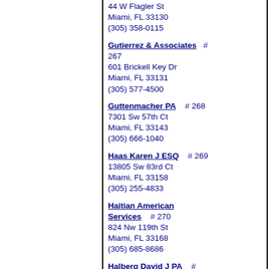44 W Flagler St
Miami, FL 33130
(305) 358-0115
Gutierrez & Associates  # 267
601 Brickell Key Dr
Miami, FL 33131
(305) 577-4500
Guttenmacher PA  # 268
7301 Sw 57th Ct
Miami, FL 33143
(305) 666-1040
Haas Karen J ESQ  # 269
13805 Sw 83rd Ct
Miami, FL 33158
(305) 255-4833
Haitian American Services  # 270
824 Nw 119th St
Miami, FL 33168
(305) 685-8686
Halberg David J PA  # 271
9130 S Dadeland Blvd
Miami, FL 33156
(305) 670-9333